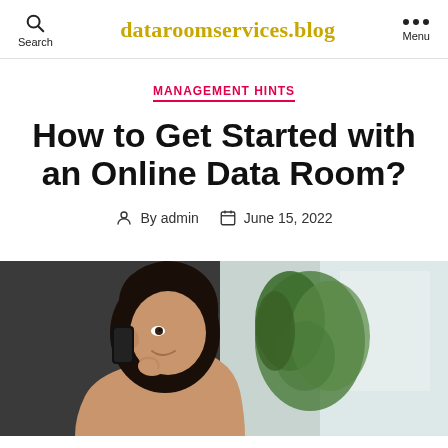Search | dataroomservices.blog | Menu
MANAGEMENT HINTS
How to Get Started with an Online Data Room?
By admin   June 15, 2022
[Figure (photo): Young Asian woman talking on phone, smiling, with a plant and window in the background]